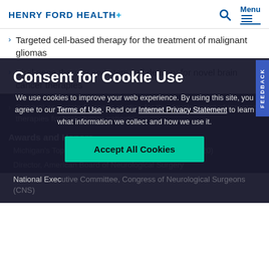HENRY FORD HEALTH+
Targeted cell-based therapy for the treatment of malignant gliomas
Viral gene therapy and stem cell delivery for novel brain cancer therapies
Survival-associated genetic studies for the development of targeted therapies for brain tumor patients
Awards and Honors
Michigan's Top Docs, Detroit Hour Magazine (2000-2020)
Director, American Board of Neurological Surgery
National Executive Committee, Congress of Neurological Surgeons (CNS)
Consent for Cookie Use — We use cookies to improve your web experience. By using this site, you agree to our Terms of Use. Read our Internet Privacy Statement to learn what information we collect and how we use it. Accept All Cookies